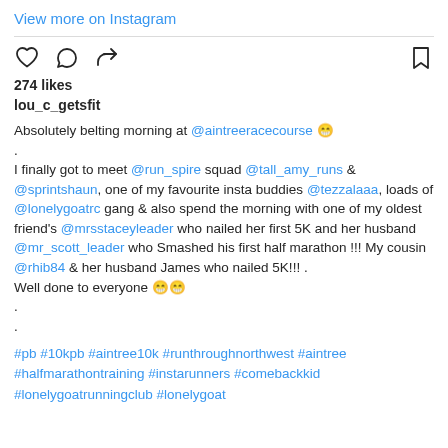View more on Instagram
274 likes
lou_c_getsfit
Absolutely belting morning at @aintreeracecourse 😁
.
I finally got to meet @run_spire squad @tall_amy_runs & @sprintshaun, one of my favourite insta buddies @tezzalaaa, loads of @lonelygoatrc gang & also spend the morning with one of my oldest friend's @mrsstaceyleader who nailed her first 5K and her husband @mr_scott_leader who Smashed his first half marathon !!! My cousin @rhib84 & her husband James who nailed 5K!!! .
Well done to everyone 😁😁
.
.
#pb #10kpb #aintree10k #runthroughnorthwest #aintree #halfmarathontraining #instarunners #comebackkid #lonelygoatrunningclub #lonelygoat